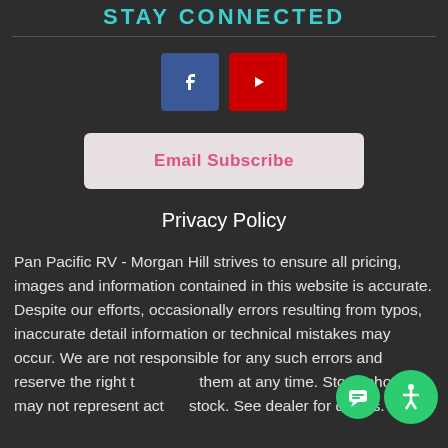STAY CONNECTED
[Figure (illustration): Facebook and YouTube social media icon buttons side by side]
Email Subscribe
Privacy Policy
Pan Pacific RV - Morgan Hill strives to ensure all pricing, images and information contained in this website is accurate. Despite our efforts, occasionally errors resulting from typos, inaccurate detail information or technical mistakes may occur. We are not responsible for any such errors and reserve the right to correct them at any time. Stock photos may not represent actual stock. See dealer for details.